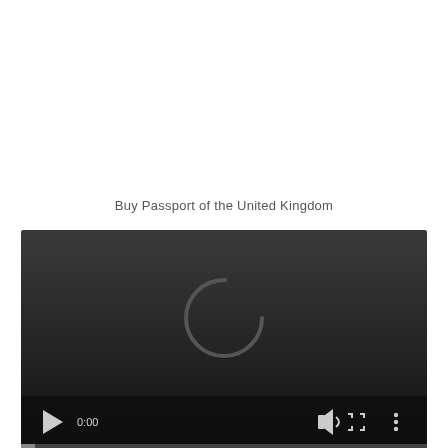Buy Passport of the United Kingdom
[Figure (screenshot): A video player in dark/black theme showing a loading spinner (partial circle) in the center, with playback controls at the bottom including a play button, time display '0:00', volume icon, fullscreen icon, and a three-dot menu icon. A thin progress bar runs along the very bottom.]